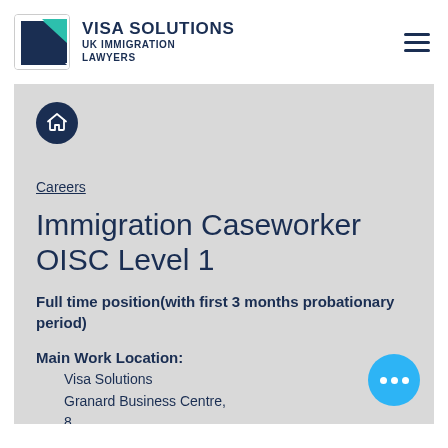VISA SOLUTIONS UK IMMIGRATION LAWYERS
[Figure (logo): Visa Solutions logo with teal and dark blue triangular K shape]
Careers
Immigration Caseworker OISC Level 1
Full time position(with first 3 months probationary period)
Main Work Location: Visa Solutions Granard Business Centre, 8 Bunns Lane